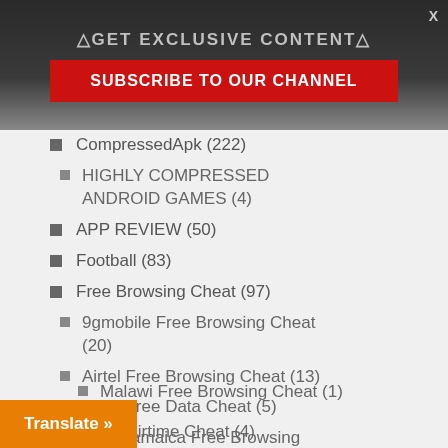△GET EXCLUSIVE CONTENT△
SUBSCRIBE TO OUR CHANNEL
CompressedApk (222)
HIGHLY COMPRESSED ANDROID GAMES (4)
APP REVIEW (50)
Football (83)
Free Browsing Cheat (97)
9gmobile Free Browsing Cheat (20)
Airtel Free Browsing Cheat (13)
Airtel Free Data Cheat (5)
Flow Jamaica Free Browsing Cheat (1)
Glo Free Browsing (10)
Kenya Free Browsing Cheat (1)
Malawi Free Browsing Cheat (1)
TN Airtime Cheat (4)